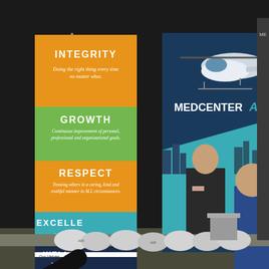[Figure (photo): A trade show or job fair booth featuring two vertical banner stands. The left banner displays company values on a multi-colored background: INTEGRITY (orange, 'Doing the right thing every time no matter what.'), GROWTH (green, 'Continuous improvement of personal, professional and organizational goals.'), RESPECT (orange, 'Treating others in a caring, kind and truthful manner in ALL circumstances.'), EXCELLENCE (teal/blue, partially obscured), WELLNESS (dark navy, 'Wholeness of... achieve a ba... organizational and...'), and at the bottom 'Our Values... Our Co...'. The right banner is for MEDCENTER AIR, showing a blue/teal design with a helicopter at the top and a flight crew member in uniform standing in front of a city skyline. A person in a blue shirt stands at the booth table which has promotional bags/items laid out, and an arm in black reaches into frame from the left.]